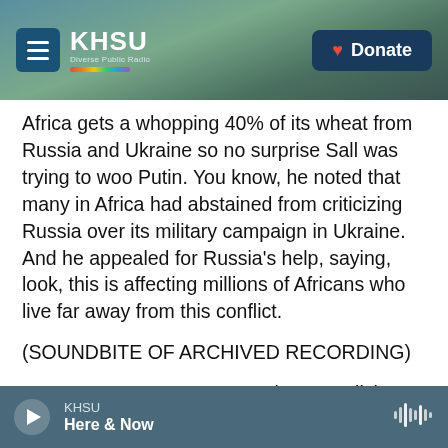[Figure (screenshot): KHSU public radio website header showing logo on left, Donate button on right, with a coastal landscape background image.]
Africa gets a whopping 40% of its wheat from Russia and Ukraine so no surprise Sall was trying to woo Putin. You know, he noted that many in Africa had abstained from criticizing Russia over its military campaign in Ukraine. And he appealed for Russia's help, saying, look, this is affecting millions of Africans who live far away from this conflict.
(SOUNDBITE OF ARCHIVED RECORDING)
PRESIDENT MACKY SALL: (Non-English language spoken).
MAYNES: So here, Sall says he agrees with Russia
[Figure (screenshot): Audio player bar at bottom showing play button, KHSU station name, Here & Now show title, and audio waveform icon.]